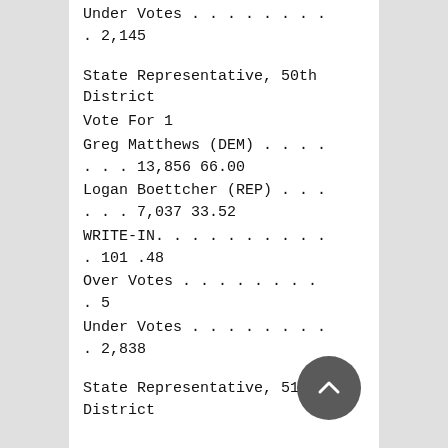Under Votes . . . . . . . . . 2,145
State Representative, 50th District
Vote For 1
Greg Matthews (DEM) . . . . . . . 13,856 66.00
Logan Boettcher (REP) . . . . . . . 7,037 33.52
WRITE-IN. . . . . . . . . . . 101 .48
Over Votes . . . . . . . . . 5
Under Votes . . . . . . . . . 2,838
State Representative, 51st District